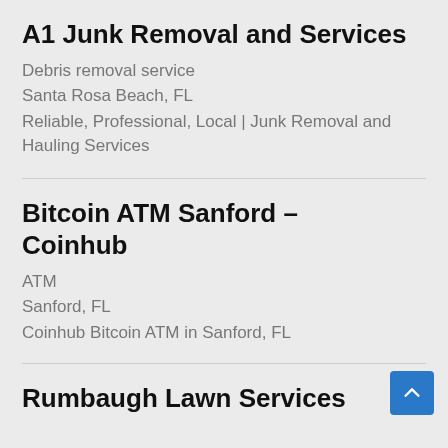A1 Junk Removal and Services
Debris removal service
Santa Rosa Beach, FL
Reliable, Professional, Local | Junk Removal and Hauling Services
Bitcoin ATM Sanford – Coinhub
ATM
Sanford, FL
Coinhub Bitcoin ATM in Sanford, FL
Rumbaugh Lawn Services